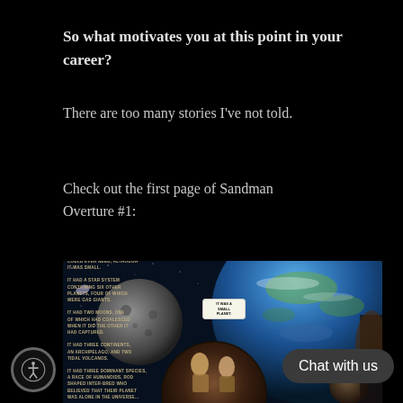So what motivates you at this point in your career?
There are too many stories I've not told.
Check out the first page of Sandman Overture #1:
[Figure (illustration): First page of Sandman Overture #1 comic book showing Earth, moon, and space scene with circular panel insets and caption text describing a small planet]
Chat with us